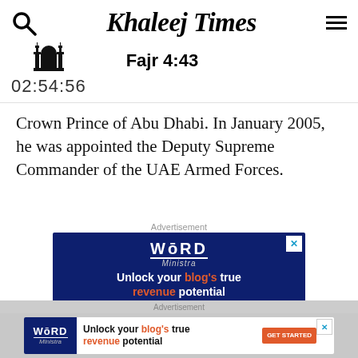Khaleej Times — Fajr 4:43 — 02:54:56
Crown Prince of Abu Dhabi. In January 2005, he was appointed the Deputy Supreme Commander of the UAE Armed Forces.
[Figure (screenshot): Advertisement banner for Word Ministra: 'Unlock your blog's true revenue potential' on dark blue background]
[Figure (screenshot): Bottom advertisement banner for Word Ministra: 'Unlock your blog's true revenue potential' with GET STARTED button]